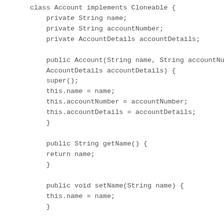class Account implements Cloneable {
    private String name;
    private String accountNumber;
    private AccountDetails accountDetails;

    public Account(String name, String accountNumber,
    AccountDetails accountDetails) {
    super();
    this.name = name;
    this.accountNumber = accountNumber;
    this.accountDetails = accountDetails;
    }

    public String getName() {
    return name;
    }

    public void setName(String name) {
    this.name = name;
    }

    public String getAccountNumber() {
    return accountNumber;